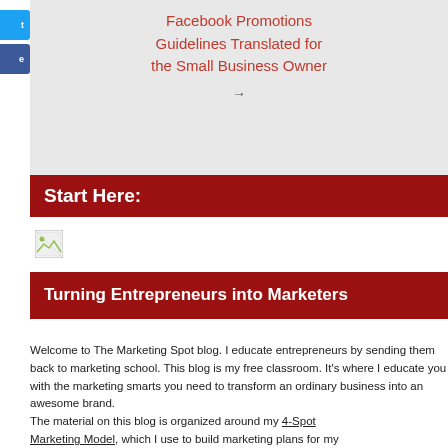Facebook Promotions Guidelines Translated for the Small Business Owner →
Start Here:
[Figure (photo): Small broken image placeholder icon]
Turning Entrepreneurs into Marketers
Welcome to The Marketing Spot blog. I educate entrepreneurs by sending them back to marketing school. This blog is my free classroom. It's where I educate you with the marketing smarts you need to transform an ordinary business into an awesome brand.
The material on this blog is organized around my 4-Spot Marketing Model, which I use to build marketing plans for my